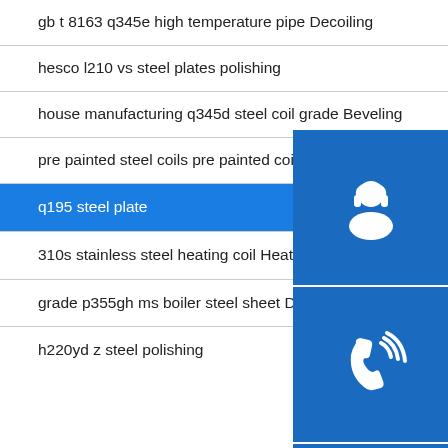gb t 8163 q345e high temperature pipe Decoiling
hesco l210 vs steel plates polishing
house manufacturing q345d steel coil grade Beveling
pre painted steel coils pre painted coil for chalk board Decoiling
q195 steel plate
310s stainless steel heating coil Heat treatment
grade p355gh ms boiler steel sheet Decoiling
h220yd z steel polishing